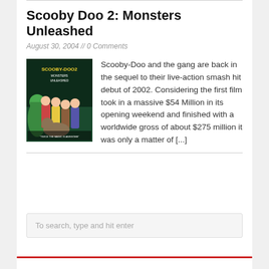Scooby Doo 2: Monsters Unleashed
August 30, 2004 // 0 Comments
[Figure (photo): Scooby-Doo 2: Monsters Unleashed movie poster showing characters from the film with the title in yellow text on a dark background]
Scooby-Doo and the gang are back in the sequel to their live-action smash hit debut of 2002. Considering the first film took in a massive $54 Million in its opening weekend and finished with a worldwide gross of about $275 million it was only a matter of [...]
To search, type and hit enter